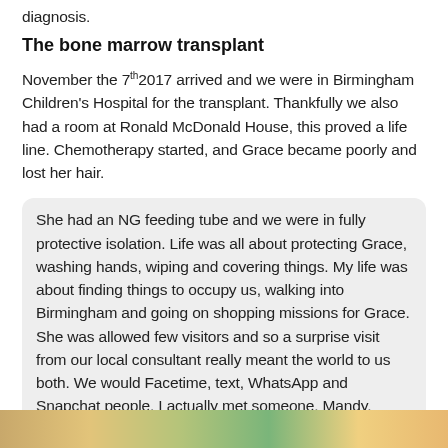diagnosis.
The bone marrow transplant
November the 7th 2017 arrived and we were in Birmingham Children's Hospital for the transplant. Thankfully we also had a room at Ronald McDonald House, this proved a life line. Chemotherapy started, and Grace became poorly and lost her hair.
She had an NG feeding tube and we were in fully protective isolation. Life was all about protecting Grace, washing hands, wiping and covering things. My life was about finding things to occupy us, walking into Birmingham and going on shopping missions for Grace. She was allowed few visitors and so a surprise visit from our local consultant really meant the world to us both. We would Facetime, text, WhatsApp and Snapchat people. I actually met someone, Mandy, whose daughter had aplastic anaemia and we would chat. Another friend, who has now sadly lost her daughter to a brain tumour was down the corridor and a message away.
[Figure (photo): Partial view of a colorful photo strip at the bottom of the page]